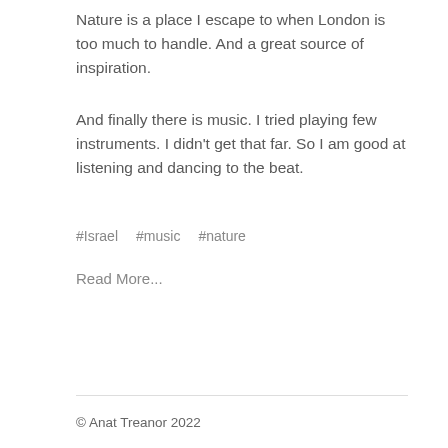Nature is a place I escape to when London is too much to handle. And a great source of inspiration.
And finally there is music. I tried playing few instruments. I didn't get that far. So I am good at listening and dancing to the beat.
#Israel   #music   #nature
Read More...
© Anat Treanor 2022